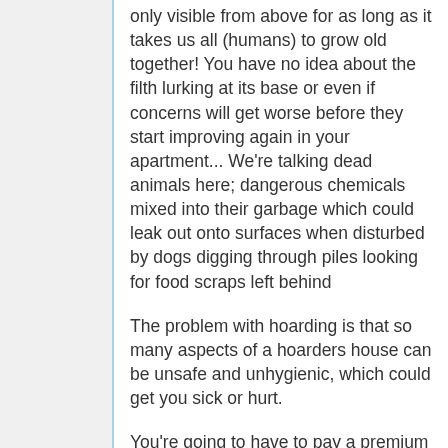only visible from above for as long as it takes us all (humans) to grow old together! You have no idea about the filth lurking at its base or even if concerns will get worse before they start improving again in your apartment... We're talking dead animals here; dangerous chemicals mixed into their garbage which could leak out onto surfaces when disturbed by dogs digging through piles looking for food scraps left behind
The problem with hoarding is that so many aspects of a hoarders house can be unsafe and unhygienic, which could get you sick or hurt.
You're going to have to pay a premium for the kind of professionals who do this work. You want your apartment livable